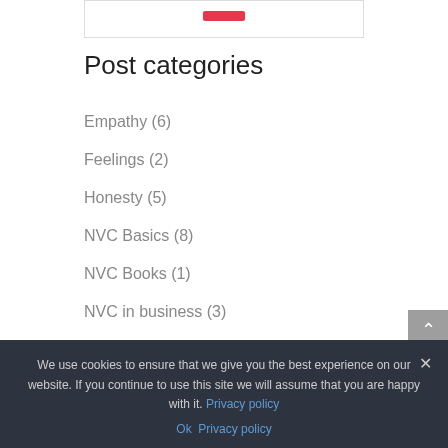[Figure (other): Partial top image area with a red bar element visible]
Post categories
Empathy (6)
Feelings (2)
Honesty (5)
NVC Basics (8)
NVC Books (1)
NVC in business (3)
We use cookies to ensure that we give you the best experience on our website. If you continue to use this site we will assume that you are happy with it. Privacy policy
Ok   Privacy policy